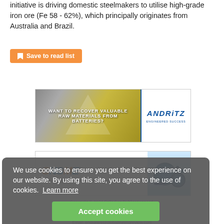initiative is driving domestic steelmakers to utilise high-grade iron ore (Fe 58 - 62%), which principally originates from Australia and Brazil.
[Figure (other): ANDRITZ advertisement: 'Want to recover valuable raw materials from batteries?' with industrial machinery background and ANDRITZ logo.]
[Figure (other): CNSME advertisement: Shijiazhuang Minerals Equipment Co. Ltd. with blue industrial pump equipment.]
We use cookies to ensure you get the best experience on our website. By using this site, you agree to the use of cookies. Learn more
Accept cookies